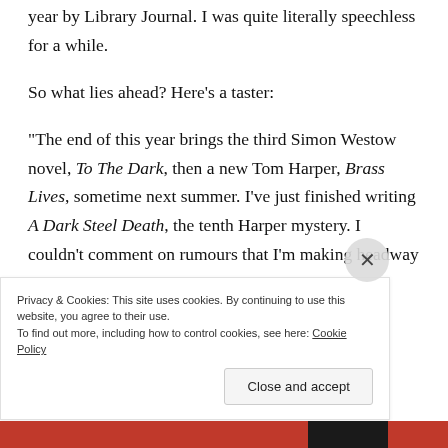year by Library Journal. I was quite literally speechless for a while.
So what lies ahead? Here’s a taster:
“The end of this year brings the third Simon Westow novel, To The Dark, then a new Tom Harper, Brass Lives, sometime next summer. I’ve just finished writing A Dark Steel Death, the tenth Harper mystery. I couldn’t comment on rumours that I’m making headway in the
Privacy & Cookies: This site uses cookies. By continuing to use this website, you agree to their use.
To find out more, including how to control cookies, see here: Cookie Policy